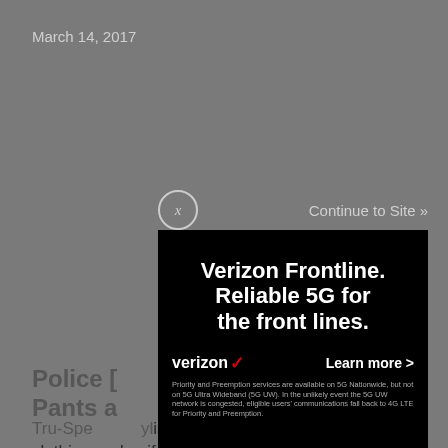March 14, 2017
[Figure (screenshot): Verizon Frontline advertisement overlay with close button and 'Continue to Site »' link. Black ad box contains headline 'Verizon Frontline. Reliable 5G for the front lines.' with Verizon logo checkmark, 'Learn more >' button, and disclaimer text about 5G Nationwide Priority and Preemption services.]
Police [partially obscured] Delta Pants a[nd partially obscured]
Tru-Spe[c partially obscured] ylish clothing and uniforms for law enforcement, the military, and even casual wear. The company's latest Delta pants and Pinnacle shirt from its 24-7 Series line